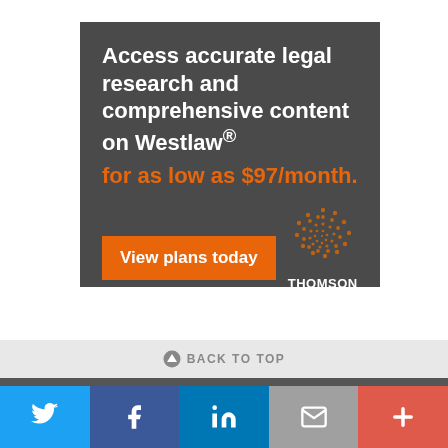[Figure (infographic): Thomson Reuters Westlaw advertisement banner with dark gray background. White bold text reads 'Access accurate legal research and comprehensive content on Westlaw®'. Orange bold text reads 'for as low as $97/month.' An orange button says 'View plans today'. Bottom right shows the Thomson Reuters logo (dotted spiral graphic) with 'THOMSON REUTERS®' text in white.]
BACK TO TOP
[Figure (infographic): Social sharing bar with five colored buttons: Twitter (blue bird icon), Facebook (dark blue 'f' icon), LinkedIn (blue 'in' icon), Email (gray envelope icon), More (red plus icon).]